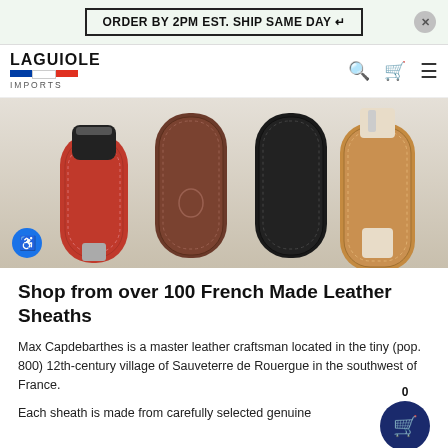ORDER BY 2PM EST. SHIP SAME DAY ↵
[Figure (logo): Laguiole Imports logo with French flag tricolor]
[Figure (photo): Four leather knife sheaths in red, brown, black, and tan colors with knives, displayed on a light background]
Shop from over 100 French Made Leather Sheaths
Max Capdebarthes is a master leather craftsman located in the tiny (pop. 800) 12th-century village of Sauveterre de Rouergue in the southwest of France.
Each sheath is made from carefully selected genuine